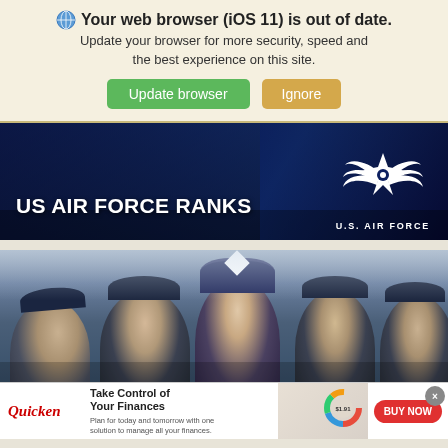🌐 Your web browser (iOS 11) is out of date. Update your browser for more security, speed and the best experience on this site. Update browser | Ignore
[Figure (screenshot): US Air Force Ranks banner with dark blue military uniform background, bold white text 'US AIR FORCE RANKS' on left and US Air Force logo (eagle wings symbol) with 'U.S. AIR FORCE' text on right]
[Figure (photo): Group of military personnel in dark navy blue dress uniforms and garrison caps, photographed from chest up, multiple people visible including a woman in center foreground looking upward]
[Figure (infographic): Quicken advertisement banner: red italic Quicken logo on left, bold text 'Take Control of Your Finances' with subtext 'Plan for today and tomorrow with one solution to manage all your finances.', financial dashboard image in center, red 'BUY NOW' button on right, grey close X button top right]